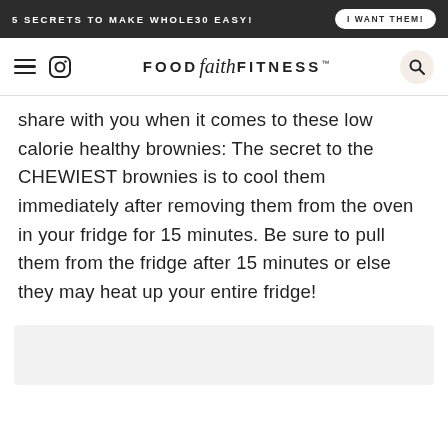5 SECRETS TO MAKE WHOLE30 EASY! | I WANT THEM!
[Figure (logo): Food Faith Fitness logo with hamburger menu and Instagram icon on left, search icon on right]
share with you when it comes to these low calorie healthy brownies: The secret to the CHEWIEST brownies is to cool them immediately after removing them from the oven in your fridge for 15 minutes. Be sure to pull them from the fridge after 15 minutes or else they may heat up your entire fridge!